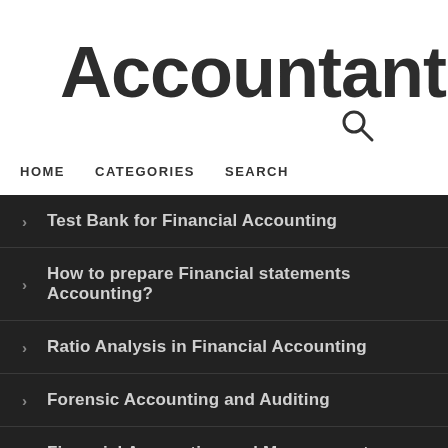Accountants a
HOME   CATEGORIES   SEARCH
Test Bank for Financial Accounting
How to prepare Financial statements Accounting?
Ratio Analysis in Financial Accounting
Forensic Accounting and Auditing
Financial Accounting and Management